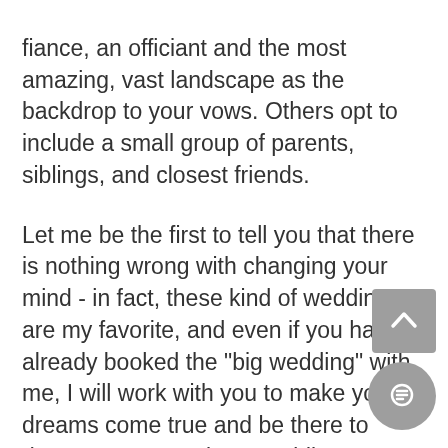fiance, an officiant and the most amazing, vast landscape as the backdrop to your vows. Others opt to include a small group of parents, siblings, and closest friends.
Let me be the first to tell you that there is nothing wrong with changing your mind - in fact, these kind of weddings are my favorite, and even if you have already booked the "big wedding" with me, I will work with you to make your dreams come true and be there to document your unique wedding story. But seriously - the UP, California, Oregon, Iceland, Italy; you name it, I am there. Let's work together to make wedding dreams a realty and preserve those dreams in photos for the rest of